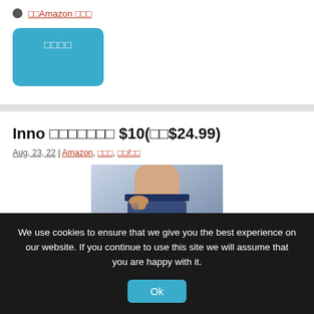□□Amazon □□□
□□□□
Inno □□□□□□□ $10(□□$24.99)
Aug, 23, 22 | Amazon, □□□, □□/□□
[Figure (photo): Product photo showing a person wearing blue yoga pants/leggings]
We use cookies to ensure that we give you the best experience on our website. If you continue to use this site we will assume that you are happy with it.
Ok